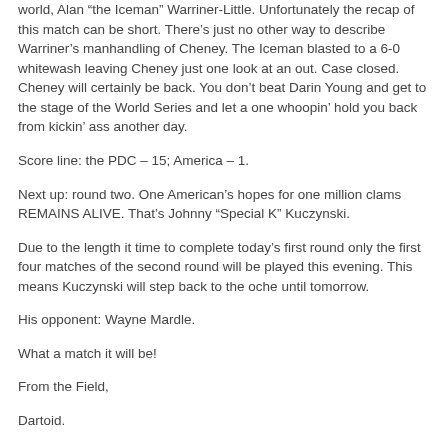world, Alan “the Iceman” Warriner-Little. Unfortunately the recap of this match can be short. There’s just no other way to describe Warriner’s manhandling of Cheney. The Iceman blasted to a 6-0 whitewash leaving Cheney just one look at an out. Case closed. Cheney will certainly be back. You don’t beat Darin Young and get to the stage of the World Series and let a one whoopin’ hold you back from kickin’ ass another day.
Score line: the PDC – 15; America – 1.
Next up: round two. One American’s hopes for one million clams REMAINS ALIVE. That’s Johnny “Special K” Kuczynski.
Due to the length it time to complete today’s first round only the first four matches of the second round will be played this evening. This means Kuczynski will step back to the oche until tomorrow.
His opponent: Wayne Mardle.
What a match it will be!
From the Field,
Dartoid.